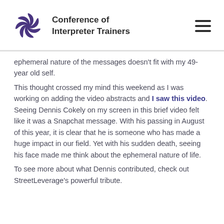[Figure (logo): Conference of Interpreter Trainers logo — purple spiral/pinwheel icon with organization name]
ephemeral nature of the messages doesn't fit with my 49-year old self.
This thought crossed my mind this weekend as I was working on adding the video abstracts and I saw this video. Seeing Dennis Cokely on my screen in this brief video felt like it was a Snapchat message.  With his passing in August of this year, it is clear that he is someone who has made a huge impact in our field. Yet with his sudden death, seeing his face made me think about the ephemeral nature of life.
To see more about what Dennis contributed, check out StreetLeverage's powerful tribute.